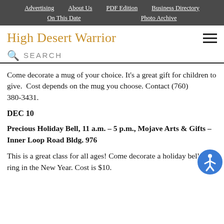Advertising | About Us | PDF Edition | Business Directory | On This Date | Photo Archive
High Desert Warrior
SEARCH
Come decorate a mug of your choice. It's a great gift for children to give.  Cost depends on the mug you choose. Contact (760) 380-3431.
DEC 10
Precious Holiday Bell, 11 a.m. – 5 p.m., Mojave Arts & Gifts – Inner Loop Road Bldg. 976
This is a great class for all ages! Come decorate a holiday bell and ring in the New Year. Cost is $10.